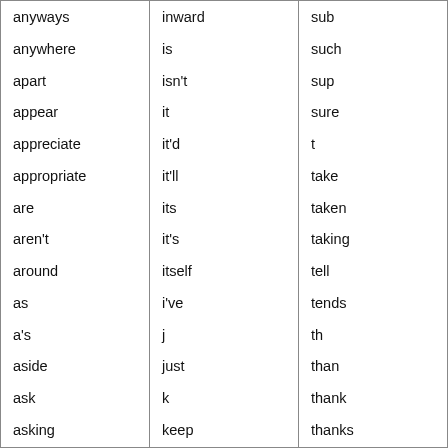| anyways | inward | sub |
| anywhere | is | such |
| apart | isn't | sup |
| appear | it | sure |
| appreciate | it'd | t |
| appropriate | it'll | take |
| are | its | taken |
| aren't | it's | taking |
| around | itself | tell |
| as | i've | tends |
| a's | j | th |
| aside | just | than |
| ask | k | thank |
| asking | keep | thanks |